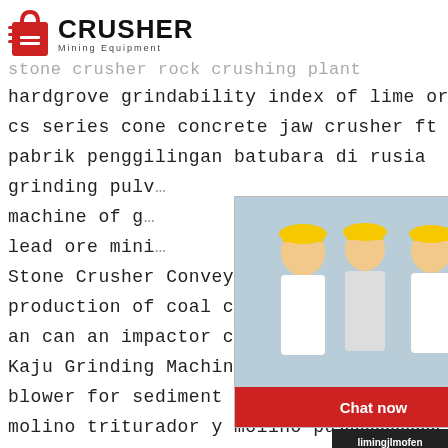[Figure (logo): Crusher Mining Equipment logo with red shopping bag icon and bold CRUSHER text]
stone crusher rock crushing plant
hardgrove grindability index of lime ore
cs series cone concrete jaw crusher ft type
pabrik penggilingan batubara di rusia
grinding pulv…
machine of g…
lead ore mini…
Stone Crusher Conveyors Belt For Sale
production of coal crusher
an can an impactor crusher crush granite
Kaju Grinding Machine Dealers
blower for sediment tank
molino triturador y molino pulverizador costo
[Figure (screenshot): Live chat popup overlay with workers in hard hats, LIVE CHAT title in red italic, Chat now and Chat later buttons]
[Figure (infographic): Right sidebar with 24Hrs Online header, customer service woman with headset, Need questions & suggestion? Chat Now button, Enquiry section, limingjlmofen@sina.com email]